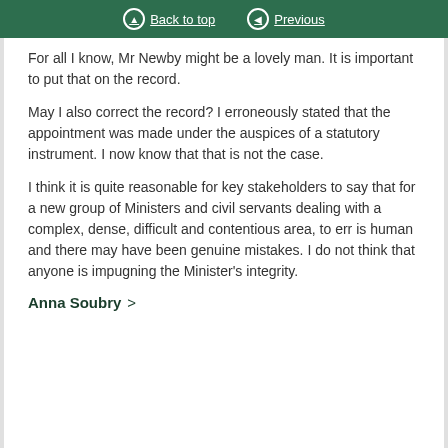Back to top | Previous
For all I know, Mr Newby might be a lovely man. It is important to put that on the record.
May I also correct the record? I erroneously stated that the appointment was made under the auspices of a statutory instrument. I now know that that is not the case.
I think it is quite reasonable for key stakeholders to say that for a new group of Ministers and civil servants dealing with a complex, dense, difficult and contentious area, to err is human and there may have been genuine mistakes. I do not think that anyone is impugning the Minister's integrity.
Anna Soubry >